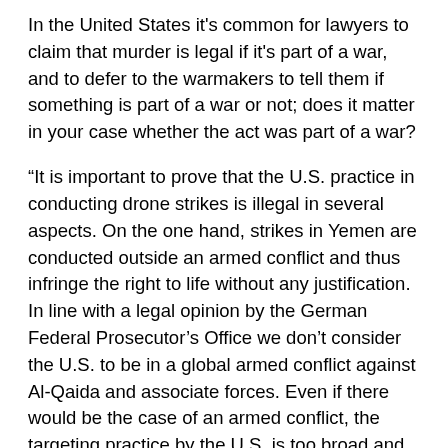In the United States it's common for lawyers to claim that murder is legal if it's part of a war, and to defer to the warmakers to tell them if something is part of a war or not; does it matter in your case whether the act was part of a war?
“It is important to prove that the U.S. practice in conducting drone strikes is illegal in several aspects. On the one hand, strikes in Yemen are conducted outside an armed conflict and thus infringe the right to life without any justification. In line with a legal opinion by the German Federal Prosecutor’s Office we don’t consider the U.S. to be in a global armed conflict against Al-Qaida and associate forces. Even if there would be the case of an armed conflict, the targeting practice by the U.S. is too broad and includes a large number of targets that do not fall under the category of legitimate military targets in an armed conflict. Attacks against those targets are thus illegal, even in armed conflict.”